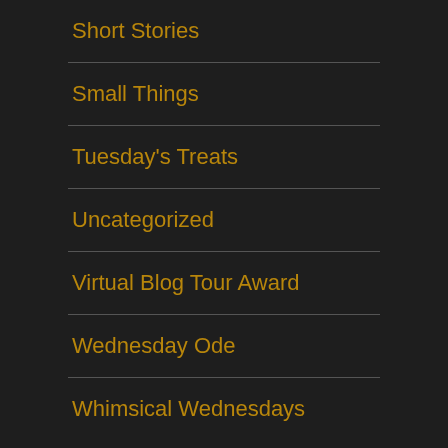Short Stories
Small Things
Tuesday's Treats
Uncategorized
Virtual Blog Tour Award
Wednesday Ode
Whimsical Wednesdays
RECENT COMMENTS